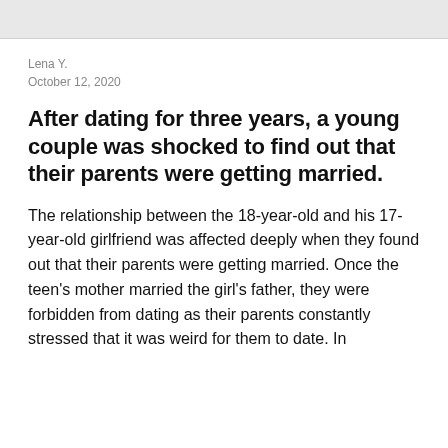Lena Y.
October 12, 2020
After dating for three years, a young couple was shocked to find out that their parents were getting married.
The relationship between the 18-year-old and his 17-year-old girlfriend was affected deeply when they found out that their parents were getting married. Once the teen's mother married the girl's father, they were forbidden from dating as their parents constantly stressed that it was weird for them to date. In